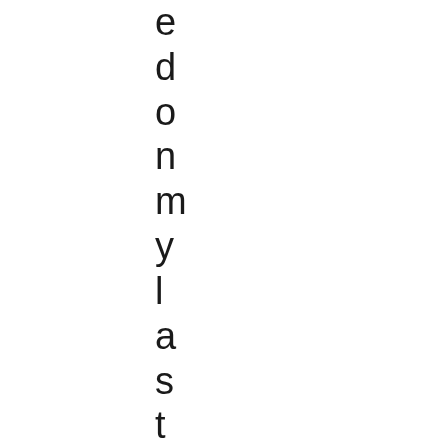e
d
o
n
m
y
l
a
s
t
p
o
s
t,
n
o